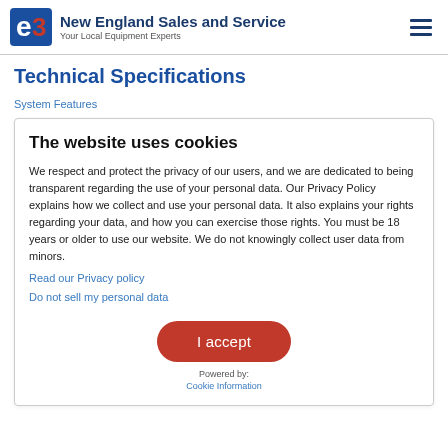New England Sales and Service — Your Local Equipment Experts
Technical Specifications
System Features
The website uses cookies
We respect and protect the privacy of our users, and we are dedicated to being transparent regarding the use of your personal data. Our Privacy Policy explains how we collect and use your personal data. It also explains your rights regarding your data, and how you can exercise those rights. You must be 18 years or older to use our website. We do not knowingly collect user data from minors.
Read our Privacy policy
Do not sell my personal data
I accept
Powered by:
Cookie Information